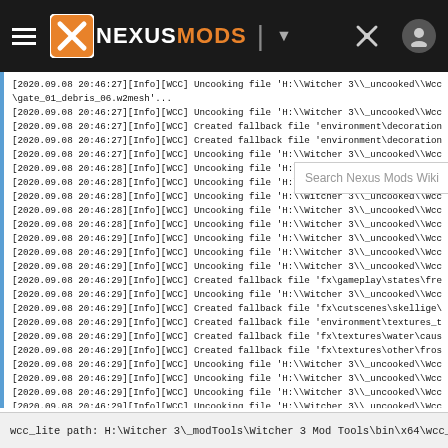[Figure (screenshot): NexusMods website navigation bar with hamburger menu, NexusMods logo, dropdown caret, tools icon, and user profile icon on dark background.]
[2020.09.08 20:46:27][Info][WCC] Uncooking file 'H:\\Witcher 3\\_uncooked\\Wcc\er
\gate_01_debris_06.w2mesh'...
[2020.09.08 20:46:27][Info][WCC] Uncooking file 'H:\\Witcher 3\\_uncooked\\Wcc\er
[2020.09.08 20:46:27][Info][WCC] Created fallback file 'environment\decorations\exterio
[2020.09.08 20:46:27][Info][WCC] Created fallback file 'environment\decorations\exterio
[2020.09.08 20:46:27][Info][WCC] Uncooking file 'H:\\Witcher 3\\_uncooked\\Wcc\fx
[2020.09.08 20:46:28][Info][WCC] Uncooking file 'H:\\Witcher 3\\_uncooked\\Wcc\fx
[2020.09.08 20:46:28][Info][WCC] Uncooking file 'H:\\Witcher 3\\_uncooked\\Wcc\fx
[2020.09.08 20:46:28][Info][WCC] Uncooking file 'H:\\Witcher 3\\_uncooked\\Wcc\fx
[2020.09.08 20:46:28][Info][WCC] Uncooking file 'H:\\Witcher 3\\_uncooked\\Wcc\fx
[2020.09.08 20:46:28][Info][WCC] Uncooking file 'H:\\Witcher 3\\_uncooked\\Wcc\fx
[2020.09.08 20:46:29][Info][WCC] Uncooking file 'H:\\Witcher 3\\_uncooked\\Wcc\ga
[2020.09.08 20:46:29][Info][WCC] Uncooking file 'H:\\Witcher 3\\_uncooked\\Wcc\ite
[2020.09.08 20:46:29][Info][WCC] Uncooking file 'H:\\Witcher 3\\_uncooked\\Wcc\ite
[2020.09.08 20:46:29][Info][WCC] Created fallback file 'fx\gameplay\states\freezing\ice
[2020.09.08 20:46:29][Info][WCC] Uncooking file 'H:\\Witcher 3\\_uncooked\\Wcc\ite
[2020.09.08 20:46:29][Info][WCC] Created fallback file 'fx\cutscenes\skellige\cs501_ca
[2020.09.08 20:46:29][Info][WCC] Created fallback file 'environment\textures_tileable\sr
[2020.09.08 20:46:29][Info][WCC] Created fallback file 'fx\textures\water\caustic_textur
[2020.09.08 20:46:29][Info][WCC] Created fallback file 'fx\textures\other\frost.xbm'
[2020.09.08 20:46:29][Info][WCC] Uncooking file 'H:\\Witcher 3\\_uncooked\\Wcc\ite
[2020.09.08 20:46:29][Info][WCC] Uncooking file 'H:\\Witcher 3\\_uncooked\\Wcc\ite
[2020.09.08 20:46:29][Info][WCC] Uncooking file 'H:\\Witcher 3\\_uncooked\\Wcc\fx
[2020.09.08 20:46:29][Info][WCC] Uncooking file 'H:\\Witcher 3\\_uncooked\\Wcc\ite
[2020.09.08 20:46:29][Info][WCC] --------------------------------------------------------
-------- Commandlet finished -------
wcc_lite path: H:\Witcher 3\_modTools\Witcher 3 Mod Tools\bin\x64\wcc_lite.e